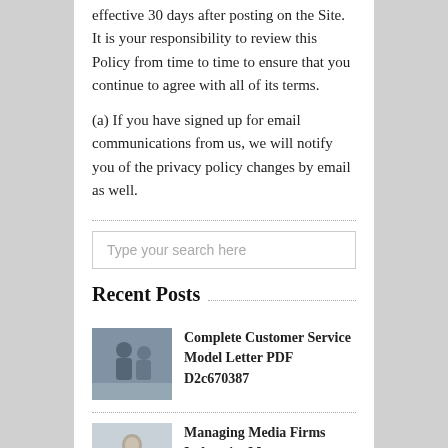effective 30 days after posting on the Site. It is your responsibility to review this Policy from time to time to ensure that you continue to agree with all of its terms.
(a) If you have signed up for email communications from us, we will notify you of the privacy policy changes by email as well.
Recent Posts
Complete Customer Service Model Letter PDF D2c670387
Managing Media Firms Industries Management PDF 2d73ee35f